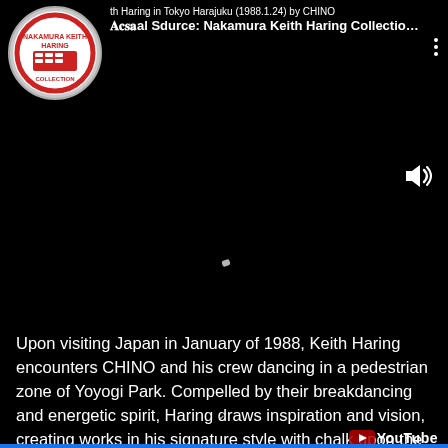[Figure (screenshot): YouTube video screenshot showing a dark/black video frame for 'Keith Haring in Tokyo Harajuku (1988.1.24) by CHINO'. The top bar shows the channel logo (Nakamura Keith Haring Collection circular logo), the video title, and a three-dot menu. A speaker icon is visible on the right side. A small bright artifact appears near the center of the black video frame.]
Upon visiting Japan in January of 1988, Keith Haring encounters CHINO and his crew dancing in a pedestrian zone of Yoyogi Park. Compelled by their breakdancing and energetic spirit, Haring draws inspiration and vision, creating works in his signature style with chalk upon the